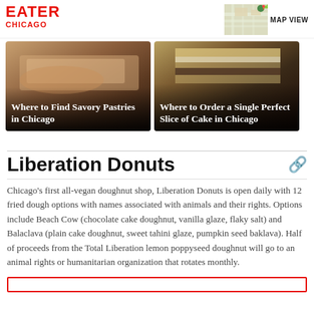EATER CHICAGO
[Figure (screenshot): Map view thumbnail in top right corner]
MAP VIEW
[Figure (photo): Photo of savory pastry with text overlay: Where to Find Savory Pastries in Chicago]
[Figure (photo): Photo of cake slice with text overlay: Where to Order a Single Perfect Slice of Cake in Chicago]
Liberation Donuts
Chicago’s first all-vegan doughnut shop, Liberation Donuts is open daily with 12 fried dough options with names associated with animals and their rights. Options include Beach Cow (chocolate cake doughnut, vanilla glaze, flaky salt) and Balaclava (plain cake doughnut, sweet tahini glaze, pumpkin seed baklava). Half of proceeds from the Total Liberation lemon poppyseed doughnut will go to an animal rights or humanitarian organization that rotates monthly.